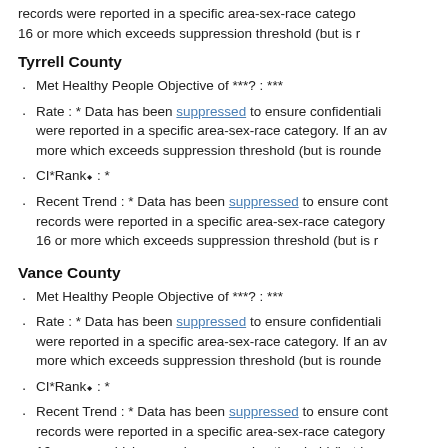records were reported in a specific area-sex-race category. 16 or more which exceeds suppression threshold (but is r...
Tyrrell County
Met Healthy People Objective of ***? : ***
Rate : * Data has been suppressed to ensure confidentiality were reported in a specific area-sex-race category. If an av more which exceeds suppression threshold (but is rounde
CI*Rank† : *
Recent Trend : * Data has been suppressed to ensure cont records were reported in a specific area-sex-race category 16 or more which exceeds suppression threshold (but is r
Vance County
Met Healthy People Objective of ***? : ***
Rate : * Data has been suppressed to ensure confidentiality were reported in a specific area-sex-race category. If an av more which exceeds suppression threshold (but is rounde
CI*Rank† : *
Recent Trend : * Data has been suppressed to ensure cont records were reported in a specific area-sex-race category 16 or more which exceeds suppression threshold (but is r